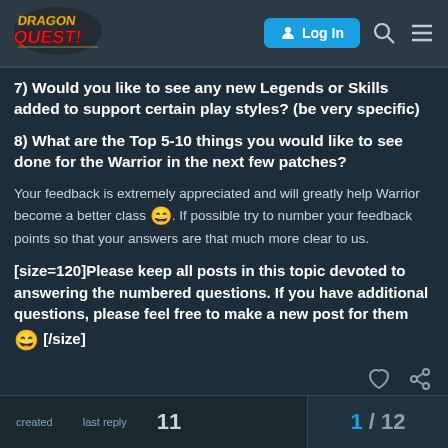Dragon Quest Forum - Log In
7) Would you like to see any new Legends or Skills added to support certain play styles? (be very specific)
8) What are the Top 5-10 things you would like to see done for the Warrior in the next few patches?
Your feedback is extremely appreciated and will greatly help Warrior become a better class 😄. If possible try to number your feedback points so that your answers are that much more clear to us.
[size=120]Please keep all posts in this topic devoted to answering the numbered questions. If you have additional questions, please feel free to make a new post for them 😄 [/size]
created   last reply   11   1 / 12